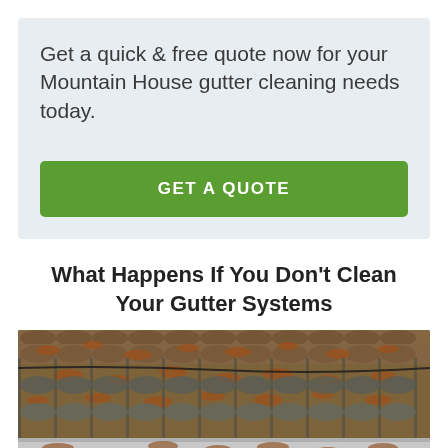Get a quick & free quote now for your Mountain House gutter cleaning needs today.
[Figure (other): Green 'GET A QUOTE' call-to-action button]
What Happens If You Don't Clean Your Gutter Systems
[Figure (photo): Close-up photo of a clogged roof gutter filled with autumn leaves and debris, with watermark 'WE GUTTERS GET CLEAN' in corner]